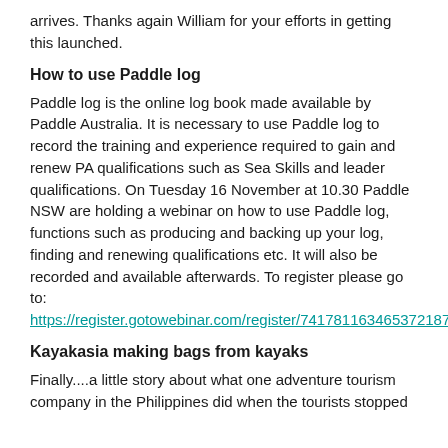arrives.  Thanks again William for your efforts in getting this launched.
How to use Paddle log
Paddle log is the online log book made available by Paddle Australia.  It is necessary to use Paddle log to record the training and experience required to gain and renew PA qualifications such as Sea Skills and leader qualifications.  On Tuesday 16 November at 10.30 Paddle NSW are holding a webinar on how to use Paddle log, functions such as producing and backing up your log, finding and renewing qualifications etc.  It will also be recorded and available afterwards.  To register please go to:  https://register.gotowebinar.com/register/7417811634653721871
Kayakasia making bags from kayaks
Finally....a little story about what one adventure tourism company in the Philippines did when the tourists stopped